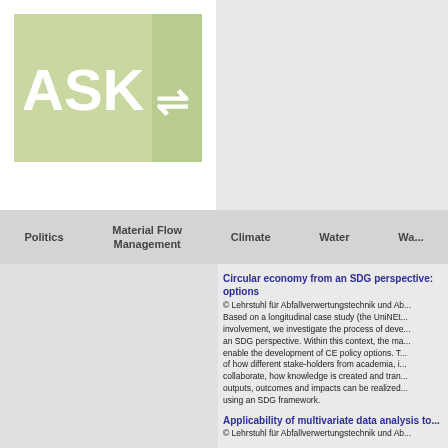[Figure (logo): ASK - Access to Sustainable Knowledge logo on green background with white text and arrow icons]
Politics | Material Flow Management | Climate | Water | Wa...
Circular economy from an SDG perspective: options
© Lehrstuhl für Abfallverwertungstechnik und Ab... Based on a longitudinal case study (the UniNEt... involvement, we investigate the process of deve... an SDG perspective. Within this context, the ma... enable the development of CE policy options. T... of how different stake-holders from academia, i... collaborate, how knowledge is created and tran... outputs, outcomes and impacts can be realized... using an SDG framework.
Applicability of multivariate data analysis to...
© Lehrstuhl für Abfallverwertungstechnik und Ab...